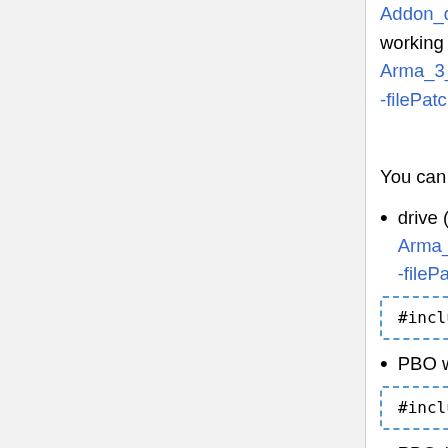Addon_development) or the Game's working directory (only with Arma_3_Startup_Parameters#Developer-filePatching enabled)
You can define a path beginning with:
drive (only with Arma_3_Startup_Parameters#Developer-filePatching enabled):
#include "D:\file.txt"
PBO with PBOPREFIX:
#include "\myMod\myAddon\file.tx
PBO (keep in mind that in this case, if the PBO's file name will be changed, all '#include' referencing it will need to be updated)
#include"\myMod\myAddon\file.txt